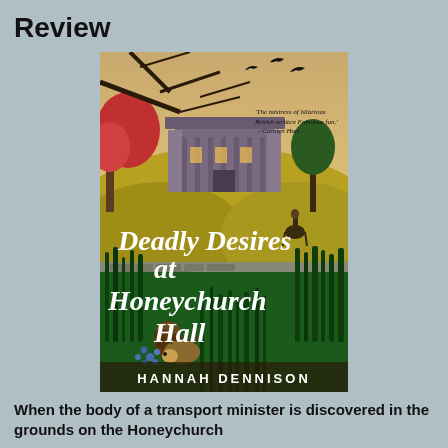Review
[Figure (illustration): Book cover of 'Deadly Desires at Honeychurch Hall' by Hannah Dennison. The cover depicts a grand manor house in the background with golden hills, red and green trees, a stone wall, lush green reeds in the foreground, a hedgehog near a pinecone, a rider on horseback to the right, and black birds in the branches at the top. The title 'Deadly Desires at Honeychurch Hall' is written in large white serif font. The author's name 'HANNAH DENNISON' appears at the bottom. A quote reads: 'The mistress of hilarious British written Fabulous fun.' - Carolyn Hart.]
When the body of a transport minister is discovered in the grounds on the Honeychurch